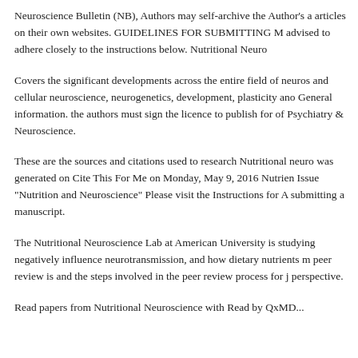Neuroscience Bulletin (NB), Authors may self-archive the Author's a articles on their own websites. GUIDELINES FOR SUBMITTING M advised to adhere closely to the instructions below. Nutritional Neuro
Covers the significant developments across the entire field of neuros and cellular neuroscience, neurogenetics, development, plasticity ano General information. the authors must sign the licence to publish for of Psychiatry & Neuroscience.
These are the sources and citations used to research Nutritional neuro was generated on Cite This For Me on Monday, May 9, 2016 Nutrien Issue "Nutrition and Neuroscience" Please visit the Instructions for A submitting a manuscript.
The Nutritional Neuroscience Lab at American University is studying negatively influence neurotransmission, and how dietary nutrients m peer review is and the steps involved in the peer review process for j perspective.
Read papers from Nutritional Neuroscience with Read by QxMD...